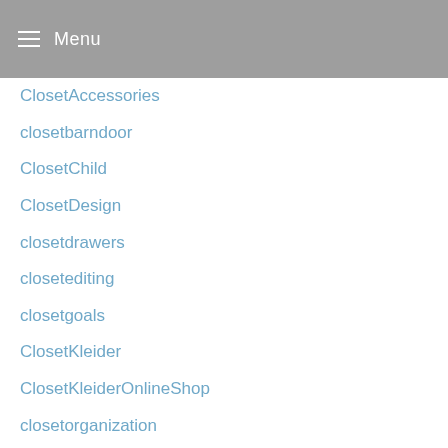Menu
ClosetAccessories
closetbarndoor
ClosetChild
ClosetDesign
closetdrawers
closetediting
closetgoals
ClosetKleider
ClosetKleiderOnlineShop
closetorganization
closets
ClosetStorageAccessories
clothingrack
Clutter
ClutterKeeper
CoastalHomes
Coboll